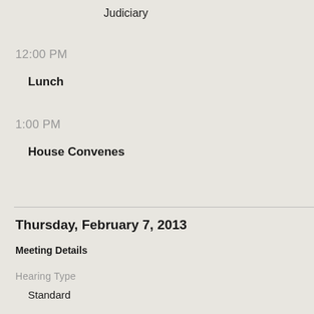Judiciary
12:00 PM
Lunch
1:00 PM
House Convenes
Thursday, February 7, 2013
Meeting Details
Hearing Type
Standard